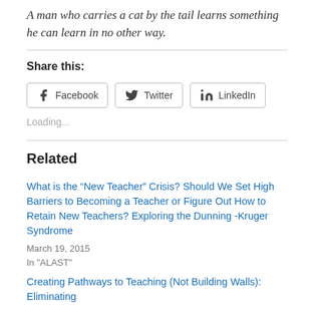A man who carries a cat by the tail learns something he can learn in no other way.
Share this:
[Figure (other): Social sharing buttons for Facebook, Twitter, and LinkedIn]
Loading...
Related
What is the "New Teacher" Crisis? Should We Set High Barriers to Becoming a Teacher or Figure Out How to Retain New Teachers? Exploring the Dunning -Kruger Syndrome
March 19, 2015
In "ALAST"
Creating Pathways to Teaching (Not Building Walls): Eliminating